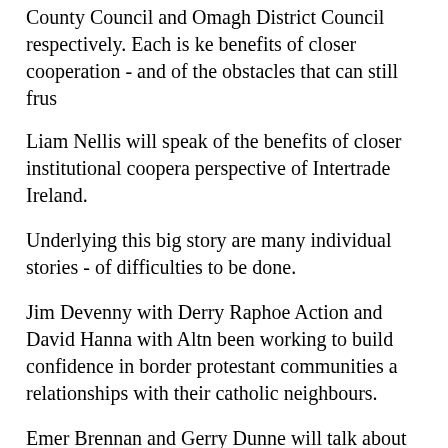County Council and Omagh District Council respectively. Each is ke benefits of closer cooperation - and of the obstacles that can still frus
Liam Nellis will speak of the benefits of closer institutional coopera perspective of Intertrade Ireland.
Underlying this big story are many individual stories - of difficulties to be done.
Jim Devenny with Derry Raphoe Action and David Hanna with Altn been working to build confidence in border protestant communities a relationships with their catholic neighbours.
Emer Brennan and Gerry Dunne will talk about the experience of th communities in North Monaghan and Inishowen to rebuilding cross border networks.
Slowly but surely, the border means less. You can drive from Dunda even be sure when you have crossed the border.
Even my mobile phone no longer knows which jurisdiction it is in.
But many of the greatest successes are the small local successes. Thi give voice to these.
Conclusion